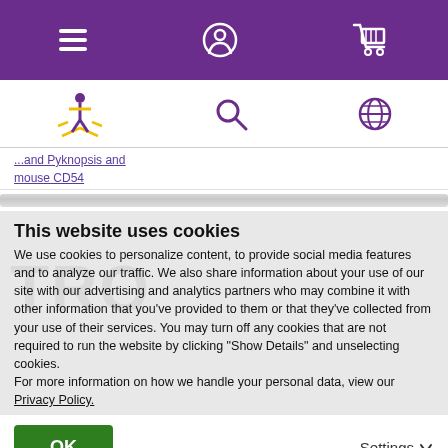[Figure (screenshot): Purple navigation bar with hamburger menu icon, user account icon, and shopping cart icon in white]
[Figure (screenshot): White sub-header with a logo (yellow figure with rays), search magnifying glass icon, and globe icon in purple]
...and Pyknopsis and mouse CD54
This website uses cookies
We use cookies to personalize content, to provide social media features and to analyze our traffic. We also share information about your use of our site with our advertising and analytics partners who may combine it with other information that you've provided to them or that they've collected from your use of their services. You may turn off any cookies that are not required to run the website by clicking "Show Details" and unselecting cookies.
For more information on how we handle your personal data, view our Privacy Policy.
OK
Settings